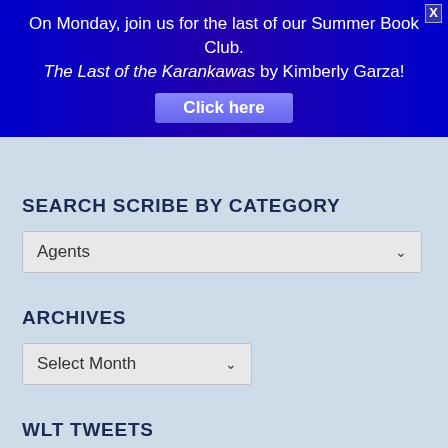[Figure (other): Blue gradient banner advertisement for Summer Book Club featuring The Last of the Karankawas by Kimberly Garza with a Click here button and X close button]
SEARCH SCRIBE BY CATEGORY
Agents (dropdown)
ARCHIVES
Select Month (dropdown)
WLT TWEETS
Thank you @GESSwrites! All support for our organization is well appreciated and helps us